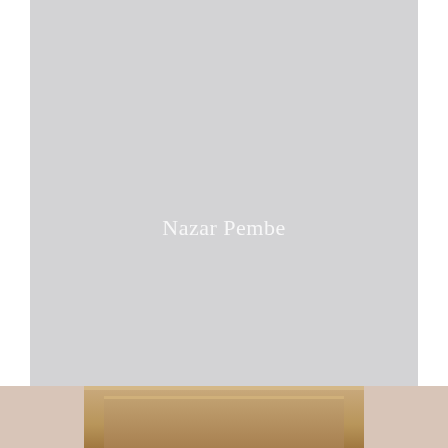[Figure (photo): A large light gray wall surface taking up most of the upper portion of the page, with white text 'Nazar Pembe' overlaid near the center. The bottom strip shows what appears to be a wooden furniture frame (headboard or door frame) in warm beige/tan tones against a light pink/beige wall.]